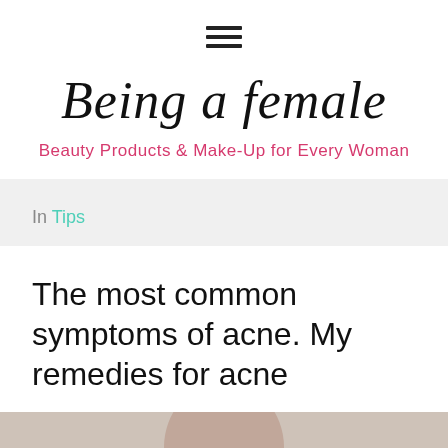[hamburger menu icon]
Being a female
Beauty Products & Make-Up for Every Woman
In Tips
The most common symptoms of acne. My remedies for acne
[Figure (photo): Photo of a woman touching her face, partially visible at bottom of page]